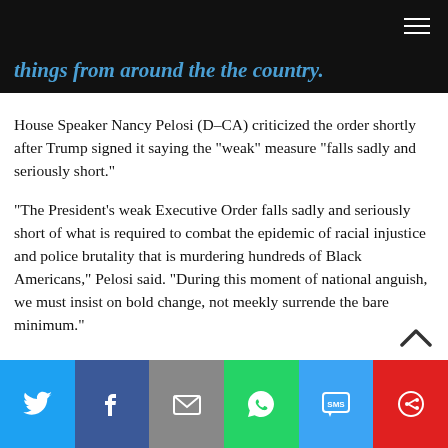[navigation bar]
things from around the the country.
House Speaker Nancy Pelosi (D–CA) criticized the order shortly after Trump signed it saying the “weak” measure “falls sadly and seriously short.”
“The President’s weak Executive Order falls sadly and seriously short of what is required to combat the epidemic of racial injustice and police brutality that is murdering hundreds of Black Americans,” Pelosi said. “During this moment of national anguish, we must insist on bold change, not meekly surrende the bare minimum.”